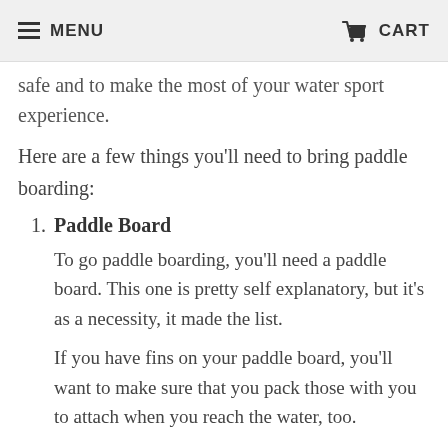MENU | CART
safe and to make the most of your water sport experience.
Here are a few things you'll need to bring paddle boarding:
1. Paddle Board
To go paddle boarding, you'll need a paddle board. This one is pretty self explanatory, but it's as a necessity, it made the list.
If you have fins on your paddle board, you'll want to make sure that you pack those with you to attach when you reach the water, too.
2. Paddle Board Paddle
The second most important part